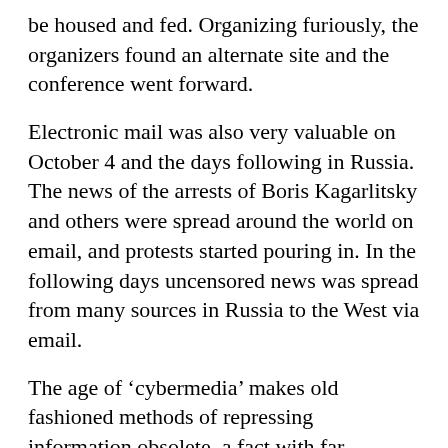be housed and fed. Organizing furiously, the organizers found an alternate site and the conference went forward.
Electronic mail was also very valuable on October 4 and the days following in Russia. The news of the arrests of Boris Kagarlitsky and others were spread around the world on email, and protests started pouring in. In the following days uncensored news was spread from many sources in Russia to the West via email.
The age of ‘cybermedia’ makes old fashioned methods of repressing information obsolete, a fact with far-reaching consequences for future struggles. For Yeltsin to have achieved a Polish result (completely cutting off communication in the manner of the Jarzuleski coup of December, 1981), he would have had to sever telephone lines and confiscate personal computers, something nearly impossible on